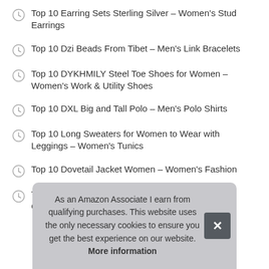Top 10 Earring Sets Sterling Silver – Women's Stud Earrings
Top 10 Dzi Beads From Tibet – Men's Link Bracelets
Top 10 DYKHMILY Steel Toe Shoes for Women – Women's Work & Utility Shoes
Top 10 DXL Big and Tall Polo – Men's Polo Shirts
Top 10 Long Sweaters for Women to Wear with Leggings – Women's Tunics
Top 10 Dovetail Jacket Women – Women's Fashion
Top 10 Duvet Cover King Bed Cotton – Kids' Duvet Cover Sets
As an Amazon Associate I earn from qualifying purchases. This website uses the only necessary cookies to ensure you get the best experience on our website. More information